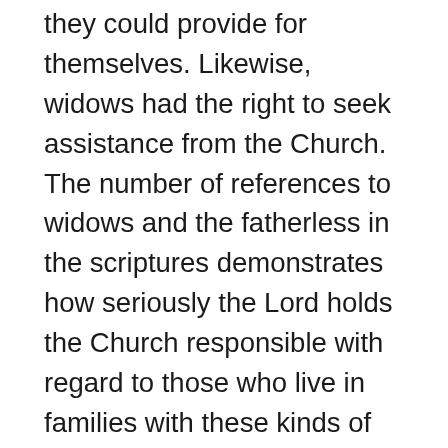they could provide for themselves. Likewise, widows had the right to seek assistance from the Church. The number of references to widows and the fatherless in the scriptures demonstrates how seriously the Lord holds the Church responsible with regard to those who live in families with these kinds of challenges (see Exodus 22:22; Psalms 146:9; 1 Timothy 5:3; 2 Nephi 19:17).

A large part of the work of the Church